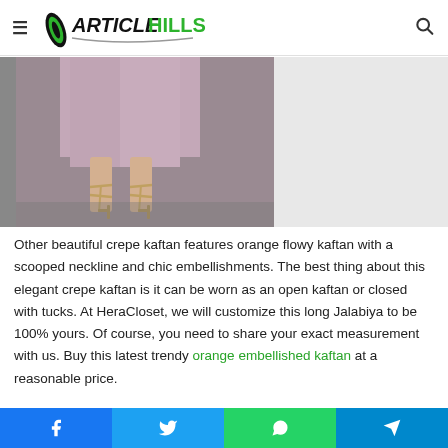ArticleHills
[Figure (photo): Photo showing lower half of a person wearing a mauve/lilac crepe kaftan and silver strappy high heels, standing on a grey floor]
Other beautiful crepe kaftan features orange flowy kaftan with a scooped neckline and chic embellishments. The best thing about this elegant crepe kaftan is it can be worn as an open kaftan or closed with tucks. At HeraCloset, we will customize this long Jalabiya to be 100% yours. Of course, you need to share your exact measurement with us. Buy this latest trendy orange embellished kaftan at a reasonable price.
Social share buttons: Facebook, Twitter, WhatsApp, Telegram